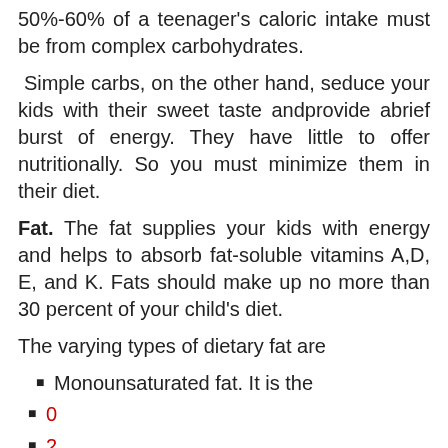50%-60% of a teenager's caloric intake must be from complex carbohydrates.
Simple carbs, on the other hand, seduce your kids with their sweet taste andprovide abrief burst of energy. They have little to offer nutritionally. So you must minimize them in their diet.
Fat. The fat supplies your kids with energy and helps to absorb fat-soluble vitamins A,D, E, and K. Fats should make up no more than 30 percent of your child's diet.
The varying types of dietary fat are
Monounsaturated fat. It is the
0
2
9
0